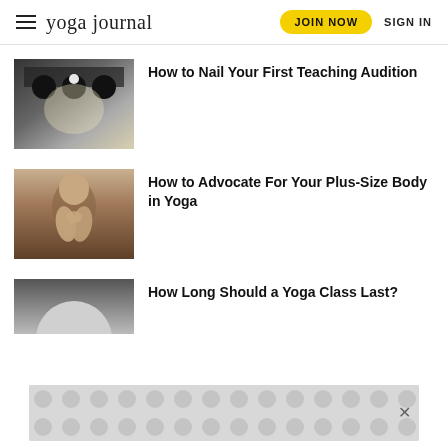yoga journal  JOIN NOW  SIGN IN
[Figure (photo): Stage lighting fixtures hanging from ceiling against bright background, black and white/low contrast image]
How to Nail Your First Teaching Audition
[Figure (photo): Woman with hands pressed together in prayer position in front of her face, yoga context]
How to Advocate For Your Plus-Size Body in Yoga
[Figure (photo): Partial view of a person's head/mat, partially obscured by advertisement overlay]
How Long Should a Yoga Class Last?
[Figure (other): Advertisement banner overlay with grey dot pattern background and close button]